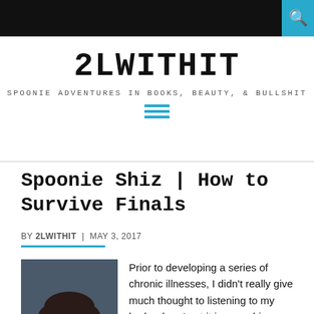2LWITHIT — SPOONIE ADVENTURES IN BOOKS, BEAUTY, & BULLSHIT
Spoonie Shiz | How to Survive Finals
BY 2LWITHIT  |  MAY 3, 2017
[Figure (photo): Portrait photo of a young woman with dark hair and light eyes, looking at the camera]
Prior to developing a series of chronic illnesses, I didn't really give much thought to listening to my body when I put it in over-drive. What do I mean by over-drive? Drinking too much,